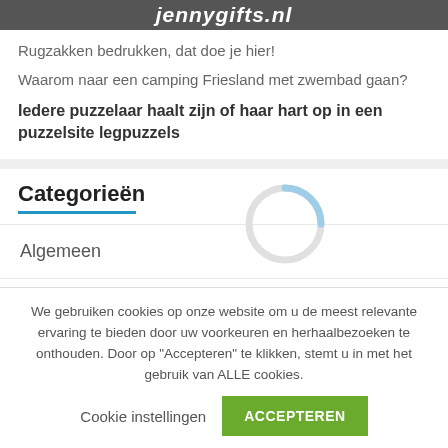jennygifts.nl
Rugzakken bedrukken, dat doe je hier!
Waarom naar een camping Friesland met zwembad gaan?
Iedere puzzelaar haalt zijn of haar hart op in een puzzelsite legpuzzels
Categorieën
Algemeen
Baby
We gebruiken cookies op onze website om u de meest relevante ervaring te bieden door uw voorkeuren en herhaalbezoeken te onthouden. Door op "Accepteren" te klikken, stemt u in met het gebruik van ALLE cookies.
Cookie instellingen
ACCEPTEREN